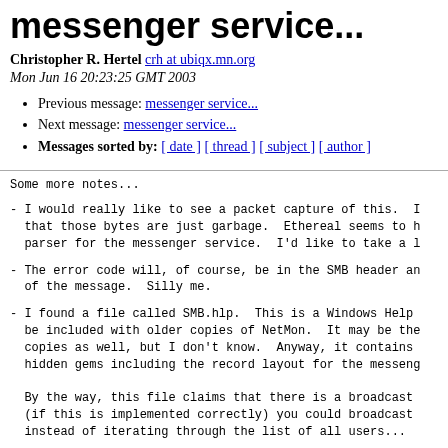messenger service...
Christopher R. Hertel crh at ubiqx.mn.org
Mon Jun 16 20:23:25 GMT 2003
Previous message: messenger service...
Next message: messenger service...
Messages sorted by: [ date ] [ thread ] [ subject ] [ author ]
Some more notes...

- I would really like to see a packet capture of this.  I
  that those bytes are just garbage.  Ethereal seems to h
  parser for the messenger service.  I'd like to take a l

- The error code will, of course, be in the SMB header an
  of the message.  Silly me.

- I found a file called SMB.hlp.  This is a Windows Help
  be included with older copies of NetMon.  It may be the
  copies as well, but I don't know.  Anyway, it contains
  hidden gems including the record layout for the messeng

  By the way, this file claims that there is a broadcast
  (if this is implemented correctly) you could broadcast
  instead of iterating through the list of all users...